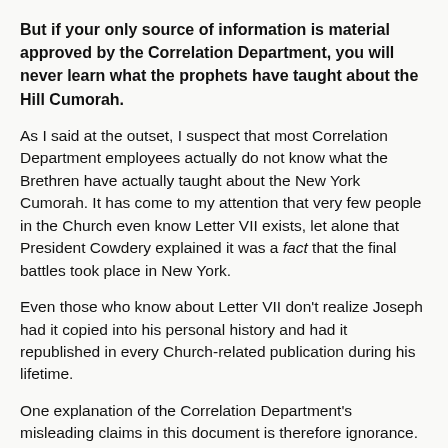But if your only source of information is material approved by the Correlation Department, you will never learn what the prophets have taught about the Hill Cumorah.
As I said at the outset, I suspect that most Correlation Department employees actually do not know what the Brethren have actually taught about the New York Cumorah. It has come to my attention that very few people in the Church even know Letter VII exists, let alone that President Cowdery explained it was a fact that the final battles took place in New York.
Even those who know about Letter VII don't realize Joseph had it copied into his personal history and had it republished in every Church-related publication during his lifetime.
One explanation of the Correlation Department's misleading claims in this document is therefore ignorance. You can decide whether that is more or less likely an explanation than the intentional promotion of M2C.